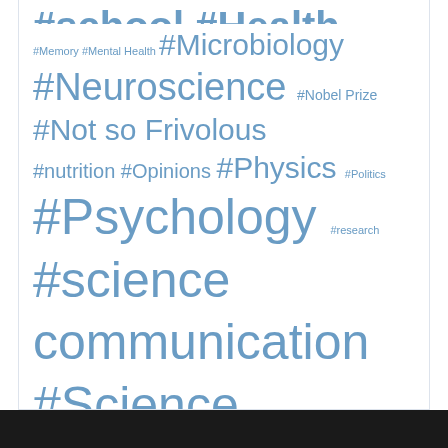#school #Health Immunology #Medicine #Memory #Mental Health #Microbiology #Neuroscience #Nobel Prize #Not so Frivolous #nutrition #Opinions #Physics #Politics #Psychology #research #science communication #Science Communication Series #Science News #Science Policy #Scientific Communication #Scientists #space #UNC-CH Research #Unsung Heroes #Weird Science #Women in Science